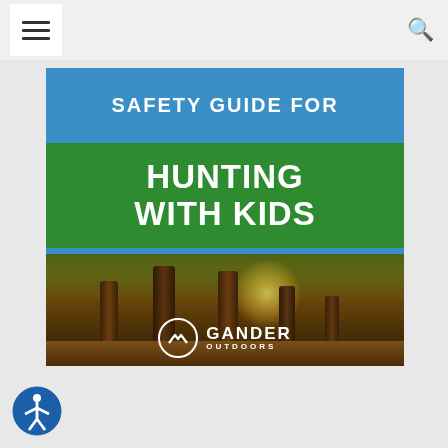Navigation header with hamburger menu and search icon
[Figure (illustration): Safety Guide for Hunting with Kids — Gander Outdoors promotional image with blue banner at top reading 'SAFETY GUIDE FOR', green banner reading 'HUNTING WITH KIDS', and a forest photo background with Gander Outdoors logo at the bottom]
[Figure (logo): Accessibility icon button at bottom left]